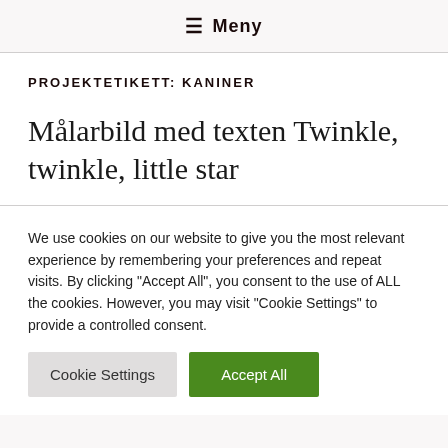≡ Meny
PROJEKTETIKETT: KANINER
Målarbild med texten Twinkle, twinkle, little star
We use cookies on our website to give you the most relevant experience by remembering your preferences and repeat visits. By clicking "Accept All", you consent to the use of ALL the cookies. However, you may visit "Cookie Settings" to provide a controlled consent.
Cookie Settings | Accept All